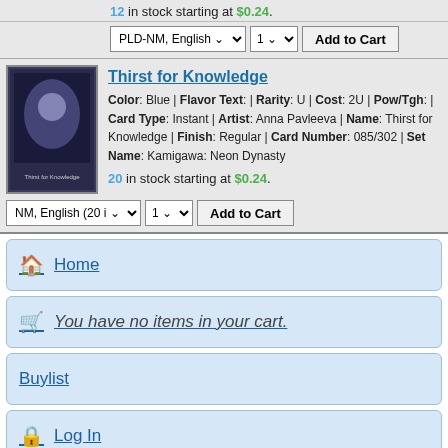12 in stock starting at $0.24.
PLD-NM, English | 1 | Add to Cart
Thirst for Knowledge
Color: Blue | Flavor Text: | Rarity: U | Cost: 2U | Pow/Tgh: | Card Type: Instant | Artist: Anna Pavleeva | Name: Thirst for Knowledge | Finish: Regular | Card Number: 085/302 | Set Name: Kamigawa: Neon Dynasty
20 in stock starting at $0.24.
NM, English (20 i | 1 | Add to Cart
Home
You have no items in your cart.
Buylist
Log In
Full Site
powered by: Crystal Commerce, LLC